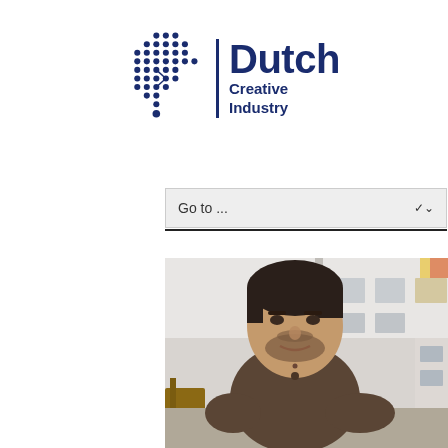[Figure (logo): Dutch Creative Industry logo with dot-matrix map of Netherlands and bold blue text]
[Figure (screenshot): Navigation dropdown bar with 'Go to ...' text and chevron arrow, followed by a horizontal rule]
[Figure (photo): Portrait photo of a dark-haired man with beard wearing a brown sweater, sitting outdoors in front of a white building with windows]